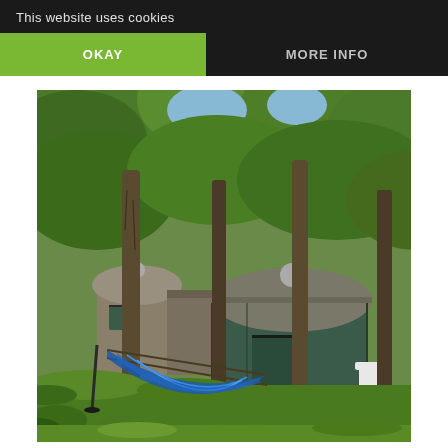This website uses cookies
OKAY
MORE INFO
[Figure (photo): Outdoor photo of two yurts (circular tent-like structures with dome roofs) surrounded by lush green trees. A blue hammock hangs in the foreground. The yurts have teal/dark green walls and wooden decks. White Adirondack chairs are visible on the right deck.]